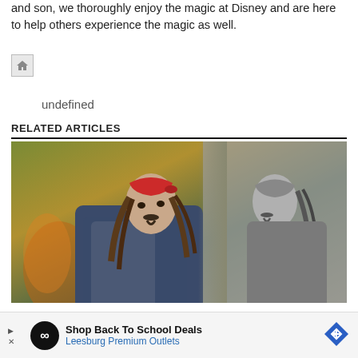and son, we thoroughly enjoy the magic at Disney and are here to help others experience the magic as well.
[Figure (other): Home icon button - small grey house icon in a bordered box]
undefined
RELATED ARTICLES
[Figure (photo): Photo of a pirate character (Jack Sparrow from Pirates of the Caribbean) wearing a red bandana, with braided hair and a goatee. Left side is in full color with yellow/green tones, right side fades to black and white.]
“DO NOT release that movie”:
Shop Back To School Deals
Leesburg Premium Outlets